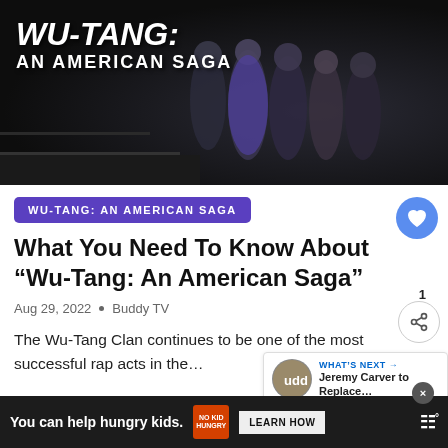[Figure (photo): Promotional image for Wu-Tang: An American Saga TV show. Dark background with group of people standing in a subway station. Title text 'WU-TANG: AN AMERICAN SAGA' overlaid in white bold italic text.]
WU-TANG: AN AMERICAN SAGA
What You Need To Know About “Wu-Tang: An American Saga”
Aug 29, 2022 • Buddy TV
The Wu-Tang Clan continues to be one of the most successful rap acts in the…